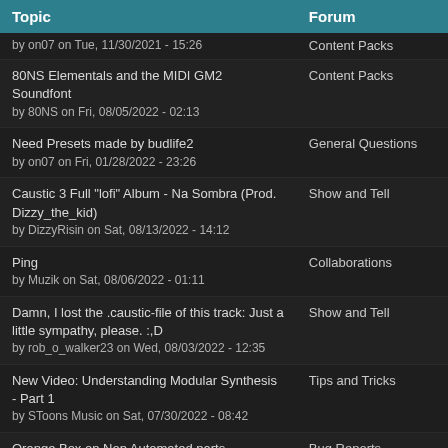| Topic | Forum |
| --- | --- |
| (truncated top) by on07 on Tue, 11/30/2021 - 15:26 | Content Packs |
| 80NS Elementals and the MIDI GM2 Soundfont
by 80NS on Fri, 08/05/2022 - 02:13 | Content Packs |
| Need Presets made by budlife2
by on07 on Fri, 01/28/2022 - 23:26 | General Questions |
| Caustic 3 Full "lofi" Album - Na Sombra (Prod. Dizzy_the_kid)
by DizzyRisin on Sat, 08/13/2022 - 14:12 | Show and Tell |
| Ping
by Muzik on Sat, 08/06/2022 - 01:11 | Collaborations |
| Damn, I lost the .caustic-file of this track: Just a little sympathy, please. :,D
by rob_o_walker23 on Wed, 08/03/2022 - 12:35 | Show and Tell |
| New Video: Understanding Modular Synthesis - Part 1
by SToons Music on Sat, 07/30/2022 - 08:42 | Tips and Tricks |
| Orange Box on Non Automated parts
by on07 on Tue, 01/11/2022 - 14:00 | Bug Reports |